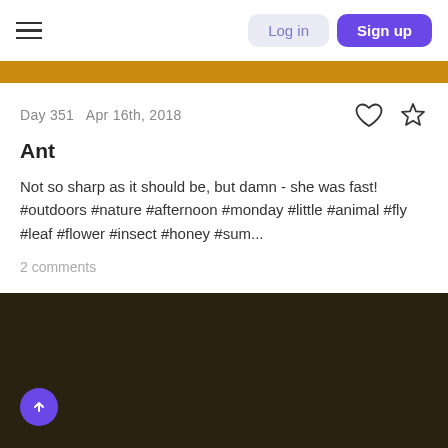Log in  Sign up
Day 351  Apr 16th, 2018
Ant
Not so sharp as it should be, but damn - she was fast! #outdoors #nature #afternoon #monday #little #animal #fly #leaf #flower #insect #honey #sum...
2 comments